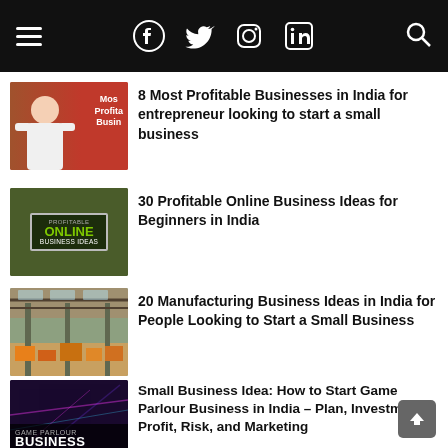Social icons: Facebook, Twitter, Instagram, LinkedIn, Search, Hamburger menu
[Figure (photo): Woman in white top next to a red banner reading 'Most Profitable Business']
8 Most Profitable Businesses in India for entrepreneur looking to start a small business
[Figure (photo): Green background with laptop showing 'Profitable Online Business Ideas']
30 Profitable Online Business Ideas for Beginners in India
[Figure (photo): Industrial factory warehouse interior with stacked goods]
20 Manufacturing Business Ideas in India for People Looking to Start a Small Business
[Figure (photo): Game Parlour Business dark themed banner]
Small Business Idea: How to Start Game Parlour Business in India – Plan, Investment, Profit, Risk, and Marketing